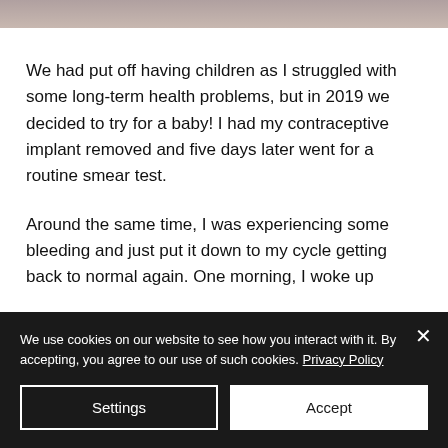[Figure (photo): Partial photo strip visible at top of page, showing what appears to be a person's arm or body]
We had put off having children as I struggled with some long-term health problems, but in 2019 we decided to try for a baby! I had my contraceptive implant removed and five days later went for a routine smear test.
Around the same time, I was experiencing some bleeding and just put it down to my cycle getting back to normal again. One morning, I woke up
We use cookies on our website to see how you interact with it. By accepting, you agree to our use of such cookies. Privacy Policy
Settings
Accept